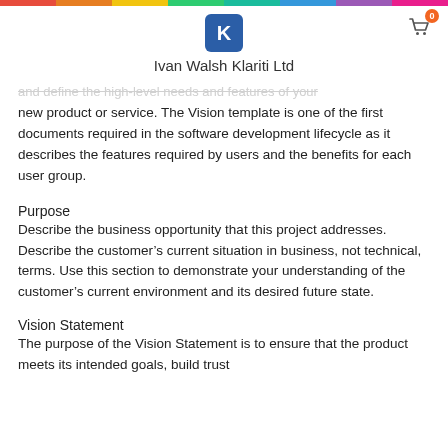[Figure (logo): Ivan Walsh Klariti Ltd logo — blue rounded square with white K letter]
Ivan Walsh Klariti Ltd
...and define the high-level needs and features of your new product or service. The Vision template is one of the first documents required in the software development lifecycle as it describes the features required by users and the benefits for each user group.
Purpose
Describe the business opportunity that this project addresses. Describe the customer’s current situation in business, not technical, terms. Use this section to demonstrate your understanding of the customer’s current environment and its desired future state.
Vision Statement
The purpose of the Vision Statement is to ensure that the product meets its intended goals, build trust